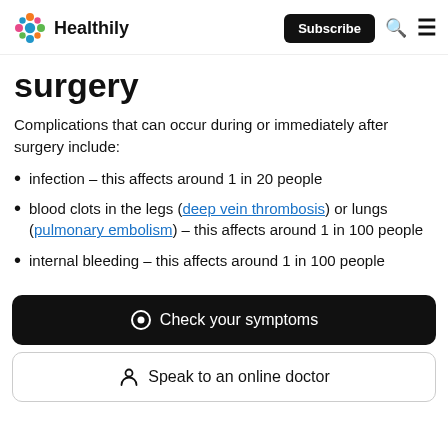Healthily — Subscribe
surgery
Complications that can occur during or immediately after surgery include:
infection – this affects around 1 in 20 people
blood clots in the legs (deep vein thrombosis) or lungs (pulmonary embolism) – this affects around 1 in 100 people
internal bleeding – this affects around 1 in 100 people
Check your symptoms
Speak to an online doctor